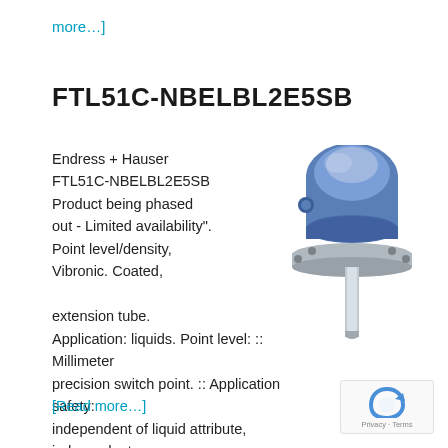more…]
FTL51C-NBELBL2E5SB
Endress + Hauser FTL51C-NBELBL2E5SB Product being phased out - Limited availability". Point level/density, Vibronic. Coated, extension tube. Application: liquids. Point level: :: Millimeter precision switch point. :: Application safety: independent of liquid attribute, independent
[Figure (photo): Photo of Endress + Hauser FTL51C-NBELBL2E5SB vibronic level sensor with blue housing, flange mount, and extension tube]
[Read more…]